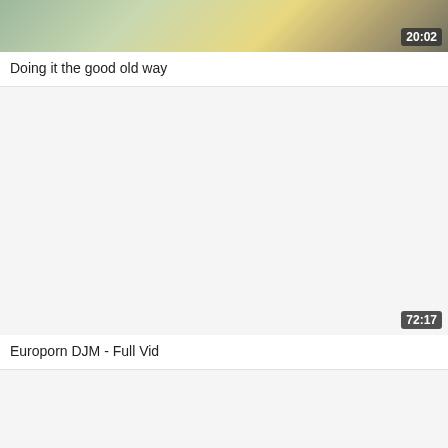[Figure (photo): Video thumbnail showing partial image with dotted/patterned fabric, green and tan colors, with timestamp 20:02 in bottom right corner]
Doing it the good old way
[Figure (photo): Blank/white video thumbnail placeholder with timestamp 72:17 in bottom right corner]
Europorn DJM - Full Vid
[Figure (photo): Blank/white video thumbnail placeholder]